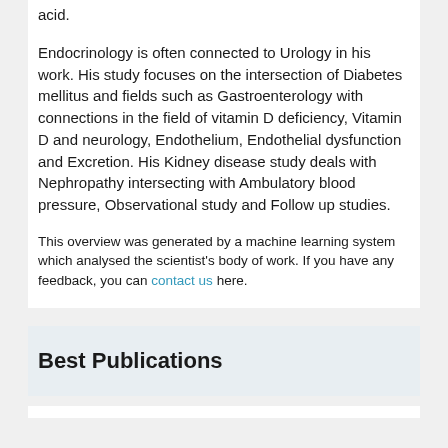acid.
Endocrinology is often connected to Urology in his work. His study focuses on the intersection of Diabetes mellitus and fields such as Gastroenterology with connections in the field of vitamin D deficiency, Vitamin D and neurology, Endothelium, Endothelial dysfunction and Excretion. His Kidney disease study deals with Nephropathy intersecting with Ambulatory blood pressure, Observational study and Follow up studies.
This overview was generated by a machine learning system which analysed the scientist's body of work. If you have any feedback, you can contact us here.
Best Publications